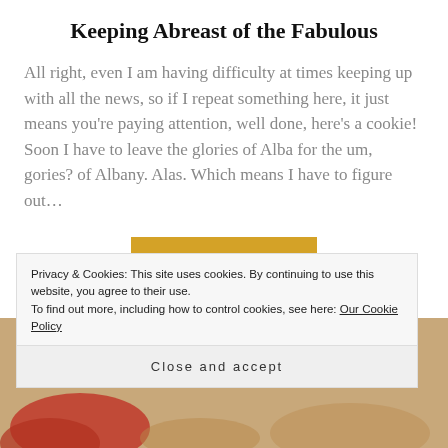Keeping Abreast of the Fabulous
All right, even I am having difficulty at times keeping up with all the news, so if I repeat something here, it just means you're paying attention, well done, here's a cookie! Soon I have to leave the glories of Alba for the um, gories? of Albany. Alas. Which means I have to figure out…
READ MORE
Privacy & Cookies: This site uses cookies. By continuing to use this website, you agree to their use.
To find out more, including how to control cookies, see here: Our Cookie Policy
Close and accept